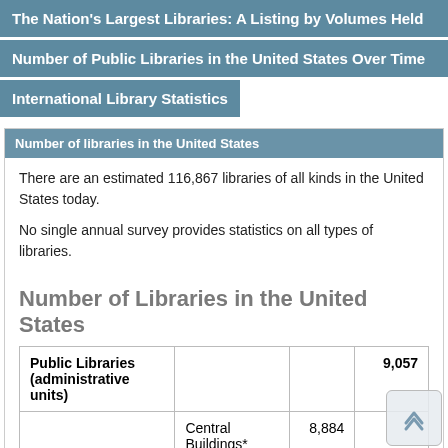The Nation's Largest Libraries: A Listing by Volumes Held
Number of Public Libraries in the United States Over Time
International Library Statistics
Number of libraries in the United States
There are an estimated 116,867 libraries of all kinds in the United States today.
No single annual survey provides statistics on all types of libraries.
Number of Libraries in the United States
|  |  |  |  |
| --- | --- | --- | --- |
| Public Libraries (administrative units) |  |  | 9,057 |
|  | Central Buildings* | 8,884 |  |